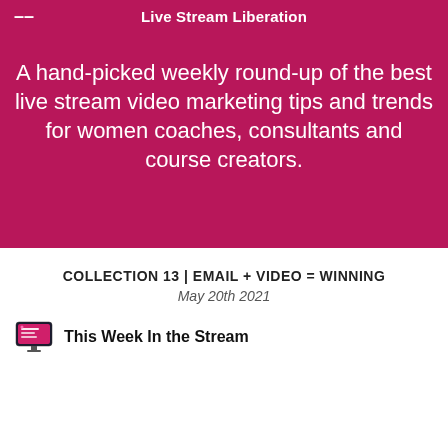Live Stream Liberation
A hand-picked weekly round-up of the best live stream video marketing tips and trends for women coaches, consultants and course creators.
COLLECTION 13 | EMAIL + VIDEO = WINNING
May 20th 2021
This Week In the Stream
[Figure (photo): A person with curly hair in front of a brick wall, with an email envelope graphic with a red notification badge showing '1']